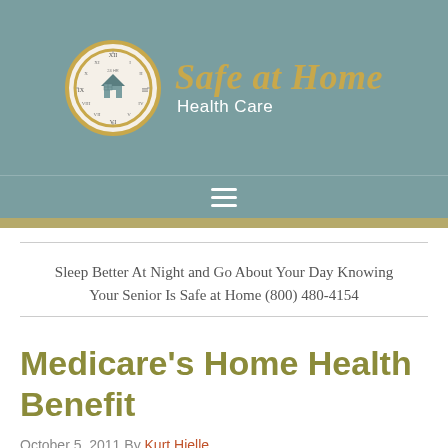[Figure (logo): Safe at Home Health Care logo: circular clock face with gold border and house icon, accompanied by the brand name in italic gold script and 'Health Care' subtitle in white]
[Figure (other): Hamburger menu icon (three horizontal white lines) on teal background]
Sleep Better At Night and Go About Your Day Knowing Your Senior Is Safe at Home (800) 480-4154
Medicare's Home Health Benefit
October 5, 2011 By Kurt Hjelle